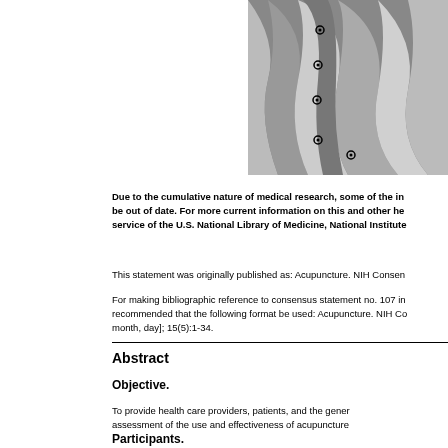[Figure (photo): Grayscale photograph of acupuncture points marked on a body, showing curved anatomical contours with small circular markers indicating acupuncture points.]
Due to the cumulative nature of medical research, some of the information may be out of date. For more current information on this and other health topics, please visit Medline Plus, a service of the U.S. National Library of Medicine, National Institutes of Health
This statement was originally published as: Acupuncture. NIH Consensus Statement 1997 Nov 3-5; 15(5):1-34.
For making bibliographic reference to consensus statement no. 107 in this series, it is recommended that the following format be used: Acupuncture. NIH Consensus Statement [year, month, day]; 15(5):1-34.
Abstract
Objective.
To provide health care providers, patients, and the general public with a responsible assessment of the use and effectiveness of acupuncture
Participants.